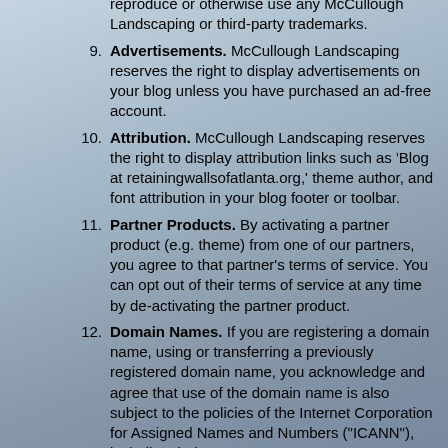reproduce or otherwise use any McCullough Landscaping or third-party trademarks.
Advertisements. McCullough Landscaping reserves the right to display advertisements on your blog unless you have purchased an ad-free account.
Attribution. McCullough Landscaping reserves the right to display attribution links such as 'Blog at retainingwallsofatlanta.org,' theme author, and font attribution in your blog footer or toolbar.
Partner Products. By activating a partner product (e.g. theme) from one of our partners, you agree to that partner's terms of service. You can opt out of their terms of service at any time by de-activating the partner product.
Domain Names. If you are registering a domain name, using or transferring a previously registered domain name, you acknowledge and agree that use of the domain name is also subject to the policies of the Internet Corporation for Assigned Names and Numbers ("ICANN"), including their Registration Rights and Responsibilities.